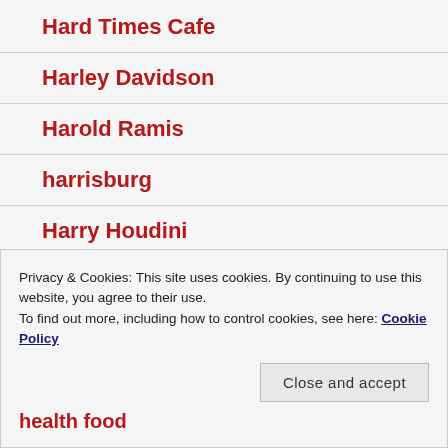Hard Times Cafe
Harley Davidson
Harold Ramis
harrisburg
Harry Houdini
Harry Potter
Privacy & Cookies: This site uses cookies. By continuing to use this website, you agree to their use.
To find out more, including how to control cookies, see here: Cookie Policy
Close and accept
health food